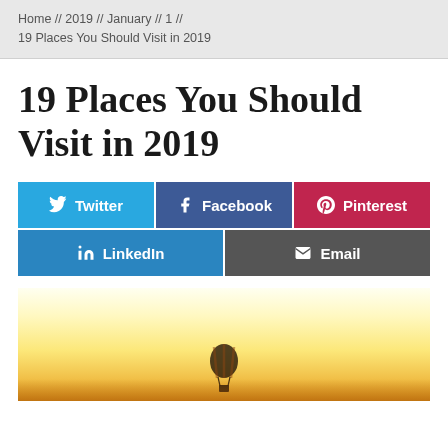Home // 2019 // January // 1 // 19 Places You Should Visit in 2019
19 Places You Should Visit in 2019
[Figure (infographic): Social sharing buttons: Twitter (light blue), Facebook (dark blue), Pinterest (red/crimson), LinkedIn (blue), Email (dark gray)]
[Figure (photo): A hot air balloon silhouetted against a warm golden sunrise/sunset sky with hazy horizon]